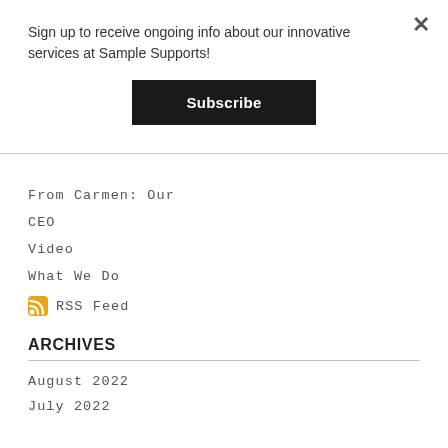Sign up to receive ongoing info about our innovative services at Sample Supports!
Subscribe
From Carmen: Our
CEO
Video
What We Do
RSS Feed
ARCHIVES
August 2022
July 2022